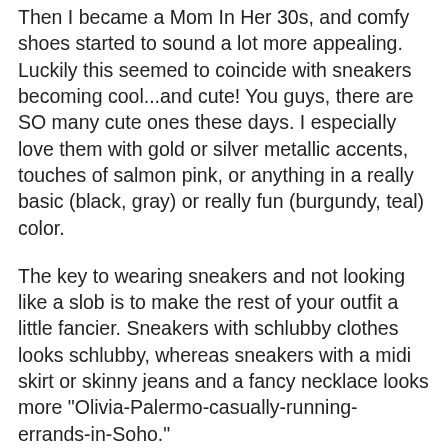Then I became a Mom In Her 30s, and comfy shoes started to sound a lot more appealing. Luckily this seemed to coincide with sneakers becoming cool...and cute! You guys, there are SO many cute ones these days. I especially love them with gold or silver metallic accents, touches of salmon pink, or anything in a really basic (black, gray) or really fun (burgundy, teal) color.
The key to wearing sneakers and not looking like a slob is to make the rest of your outfit a little fancier. Sneakers with schlubby clothes looks schlubby, whereas sneakers with a midi skirt or skinny jeans and a fancy necklace looks more "Olivia-Palermo-casually-running-errands-in-Soho."
Right now, I especially love slip-on sneakers worn with a skirt like my friend/street style star/master-of-making-sneakers-look-cool Eva Chen is wearing in the center photo above. I'm also really into more athletic styles paired with leggings or skinnies and a big sweater.
If you happen to be feeling the dressing-up-sneakers trend, too, I've pulled a few of my favorite pairs available right now,